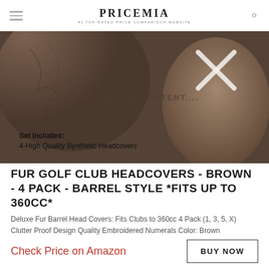PRICEMIA #1 TOP-RATED PRICE COMPARISON WEBSITE
[Figure (photo): Brown fur golf club headcovers in barrel style, dark brown fluffy texture with embroidered X numeral visible. Text overlay: 'LOADING THE CONTENT...'. Caption area: 'Set Includes: 4-High Quality Synthetic Headcovers']
FUR GOLF CLUB HEADCOVERS - BROWN - 4 PACK - BARREL STYLE *FITS UP TO 360CC*
Deluxe Fur Barrel Head Covers: Fits Clubs to 360cc 4 Pack (1, 3, 5, X) Clutter Proof Design Quality Embroidered Numerals Color: Brown
Check Price on Amazon
BUY NOW